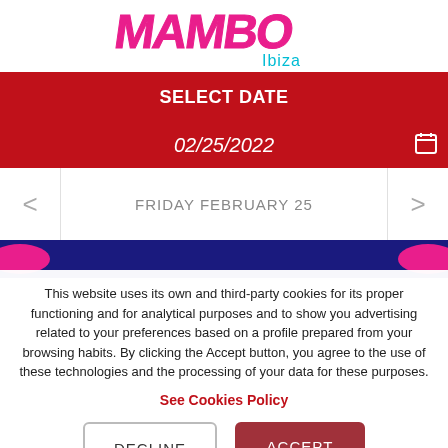[Figure (logo): Mambo Ibiza logo — colorful stylized 'MAMBO' text in pink/red with 'Ibiza' in cyan below]
SELECT DATE
02/25/2022
FRIDAY FEBRUARY 25
[Figure (illustration): Dark blue banner strip with pink blobs on left and right sides — partial event banner]
This website uses its own and third-party cookies for its proper functioning and for analytical purposes and to show you advertising related to your preferences based on a profile prepared from your browsing habits. By clicking the Accept button, you agree to the use of these technologies and the processing of your data for these purposes.
See Cookies Policy
DECLINE
ACCEPT